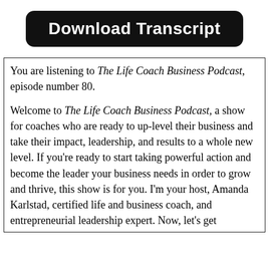Download Transcript
You are listening to The Life Coach Business Podcast, episode number 80.

Welcome to The Life Coach Business Podcast, a show for coaches who are ready to up-level their business and take their impact, leadership, and results to a whole new level. If you’re ready to start taking powerful action and become the leader your business needs in order to grow and thrive, this show is for you. I’m your host, Amanda Karlstad, certified life and business coach, and entrepreneurial leadership expert. Now, let’s get